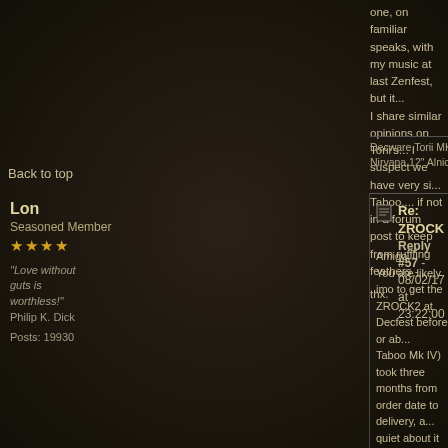one, on familiar speaks, with my music at last Zenfest, but it... I share similar opinions on Torii's... I suspect we have very si... Taboo.... if not in a forum post to keep from ruffling feathers -
thx.
Decware Torii MK3, Wyred4Sound DAC2, Theta Digital Miles, Emo... Nirvana 12" Alnico's, PS Audio PW P5, Goertz, Kimber, Nordost ar...
Back to top
Lon
Seasoned Member
★★★★
"Love without guts is worthless!" Philip K. Dick
Posts: 19930
Re: ZROCK
Reply #57 - 08/02/17 at 23:22:00
Amigo,
You are likely imo to get the ZROCK2 at Decfest before or ab... Taboo Mk IV) took three months from order date to delivery, a... quiet about it when it arrives and there are a handful of order... Sonic Seeker's impressions and information has been great...
I'm not worried about ruffling feathers, and to be honest the s... dissimilar, which really surprised me! With either one driven ... still seems to have a bit of headroom. That surprises me but... need for me. The thing that floored me was that the tonal ba... darned close to how I adjust the Torii with its treble and bass... clockwise). The Taboo has a bit more treble energy and a bit... happens. Listening today I several times wanted to get up an... ZROCK2 if I keep using the Taboo.
The really pertinent difference between the two amps. . . well... Taboo has the sound of the Torii in an SET amp, and is just a... that isn't split and then recombined, a cohesiveness to the so... enveloping lower frequency vibe that the Taboo just doesn't c... has just a hint more "dynamics" than the Torii it seems. To us... feel as if I'm just a bit closer to the music. (Which means son...
So I love both these amps and I'd keep one of the three...